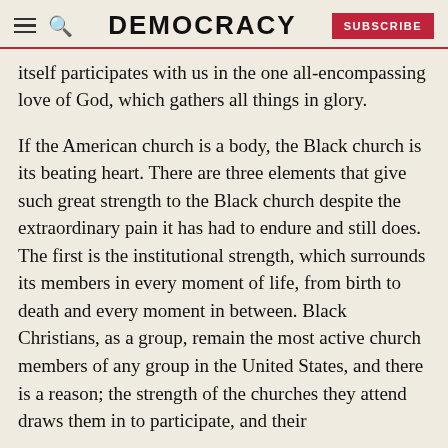DEMOCRACY
itself participates with us in the one all-encompassing love of God, which gathers all things in glory.
If the American church is a body, the Black church is its beating heart. There are three elements that give such great strength to the Black church despite the extraordinary pain it has had to endure and still does. The first is the institutional strength, which surrounds its members in every moment of life, from birth to death and every moment in between. Black Christians, as a group, remain the most active church members of any group in the United States, and there is a reason; the strength of the churches they attend draws them in to participate, and their